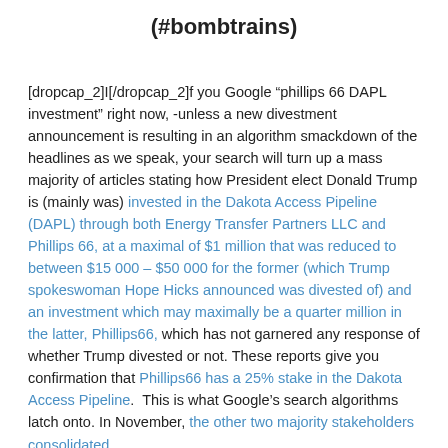(#bombtrains)
[dropcap_2]I[/dropcap_2]f you Google “phillips 66 DAPL investment” right now, -unless a new divestment announcement is resulting in an algorithm smackdown of the headlines as we speak, your search will turn up a mass majority of articles stating how President elect Donald Trump is (mainly was) invested in the Dakota Access Pipeline (DAPL) through both Energy Transfer Partners LLC and Phillips 66, at a maximal of $1 million that was reduced to between $15 000 – $50 000 for the former (which Trump spokeswoman Hope Hicks announced was divested of) and an investment which may maximally be a quarter million in the latter, Phillips66, which has not garnered any response of whether Trump divested or not. These reports give you confirmation that Phillips66 has a 25% stake in the Dakota Access Pipeline.  This is what Google’s search algorithms latch onto. In November, the other two majority stakeholders consolidated.
Trump’s investment is hailed of interest for its conflict of interest, and may rate as a calculated smackdown of Trump targeted at the